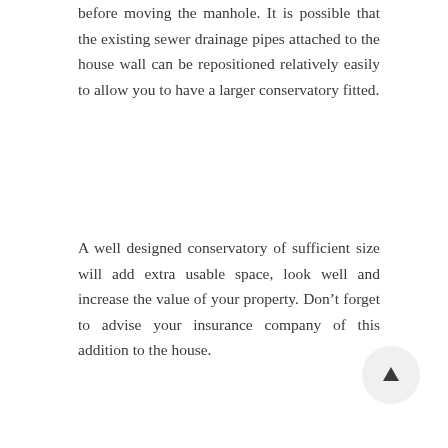before moving the manhole. It is possible that the existing sewer drainage pipes attached to the house wall can be repositioned relatively easily to allow you to have a larger conservatory fitted.
A well designed conservatory of sufficient size will add extra usable space, look well and increase the value of your property. Don't forget to advise your insurance company of this addition to the house.